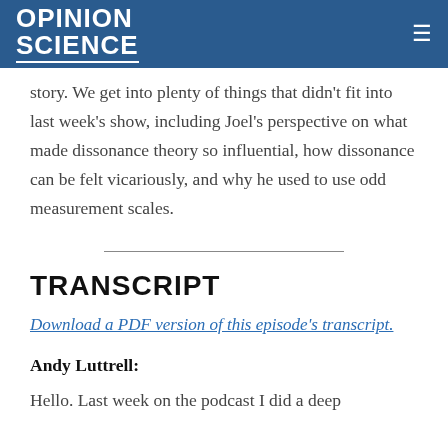OPINION SCIENCE
story. We get into plenty of things that didn't fit into last week's show, including Joel's perspective on what made dissonance theory so influential, how dissonance can be felt vicariously, and why he used to use odd measurement scales.
TRANSCRIPT
Download a PDF version of this episode's transcript.
Andy Luttrell:
Hello. Last week on the podcast I did a deep